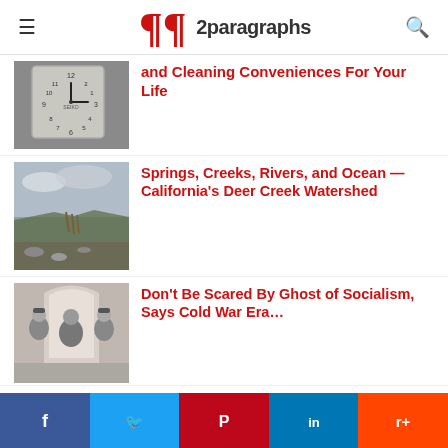2paragraphs
[Figure (photo): A Seiko alarm clock showing approximately 10:10 time]
and Cleaning Conveniences For Your Life
[Figure (photo): A shoreline scene with water, reeds and cloudy sky — California's Deer Creek Watershed]
Springs, Creeks, Rivers, and Ocean — California's Deer Creek Watershed
[Figure (photo): Black and white photo of several men seated, possibly historical political figures]
Don't Be Scared By Ghost of Socialism, Says Cold War Era…
Facebook Twitter Pinterest LinkedIn Reddit